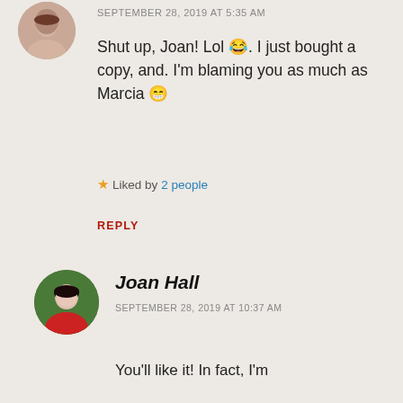[Figure (photo): Circular avatar photo of a woman with brown hair, partially visible at the top]
SEPTEMBER 28, 2019 AT 5:35 AM
Shut up, Joan! Lol 😂. I just bought a copy, and. I'm blaming you as much as Marcia 😁
★ Liked by 2 people
REPLY
[Figure (photo): Circular avatar photo of Joan Hall, a woman with dark hair, wearing a red top, in front of green foliage]
Joan Hall
SEPTEMBER 28, 2019 AT 10:37 AM
You'll like it! In fact, I'm